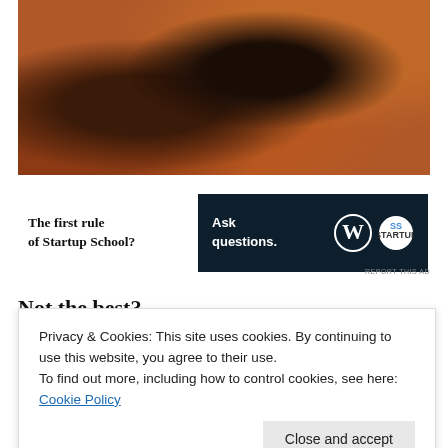[Figure (photo): Close-up photo of dark and reddish-brown soil/dirt with rocks and dried plant material]
[Figure (infographic): Advertisement banner: left side shows text 'The first rule of Startup School?' and right side is a dark navy banner with 'Ask questions.' text and WordPress and Startup School logos]
Not the best?
Privacy & Cookies: This site uses cookies. By continuing to use this website, you agree to their use.
To find out more, including how to control cookies, see here: Cookie Policy
[Figure (photo): Partial photo visible at the bottom of the page showing a person]